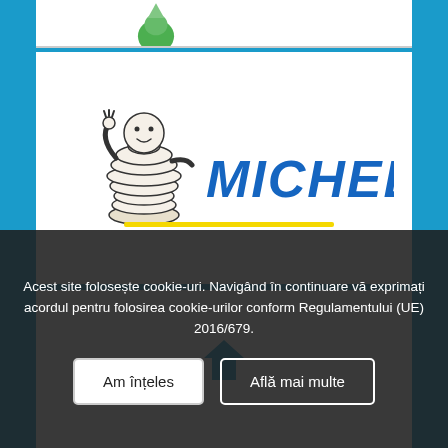[Figure (logo): Partial green logo/icon at top, cropped]
[Figure (logo): Michelin logo: Bibendum mascot (white puffy figure waving) on left, yellow horizontal line below, blue MICHELIN text on right]
[Figure (logo): Partial blue logo at bottom card, partially obscured by cookie consent overlay]
Acest site folosește cookie-uri. Navigând în continuare vă exprimați acordul pentru folosirea cookie-urilor conform Regulamentului (UE) 2016/679.
Am înțeles
Află mai multe